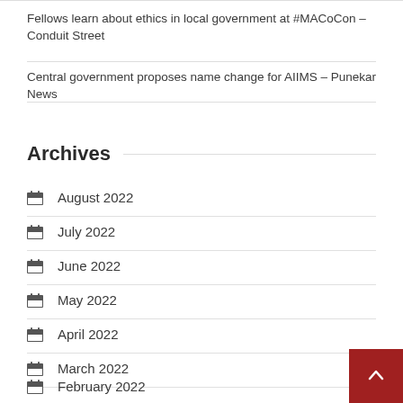Fellows learn about ethics in local government at #MACoCon – Conduit Street
Central government proposes name change for AIIMS – Punekar News
Archives
August 2022
July 2022
June 2022
May 2022
April 2022
March 2022
February 2022